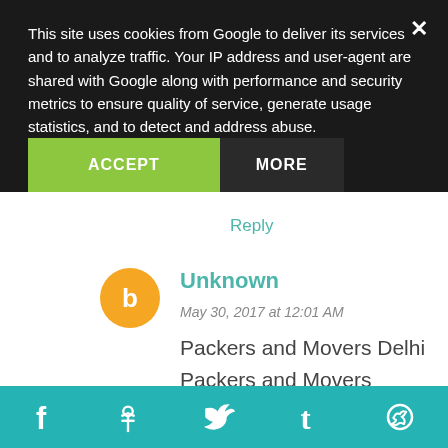This site uses cookies from Google to deliver its services and to analyze traffic. Your IP address and user-agent are shared with Google along with performance and security metrics to ensure quality of service, generate usage statistics, and to detect and address abuse.
ACCEPT
MORE
packers and movers Mumbai
packers and movers Mohali
Reply
Unknown  May 30, 2017 at 12:01 AM
Packers and Movers Delhi Packers and Movers Mumbai
Social share bar: Facebook, Pinterest, Twitter, Tumblr, Other